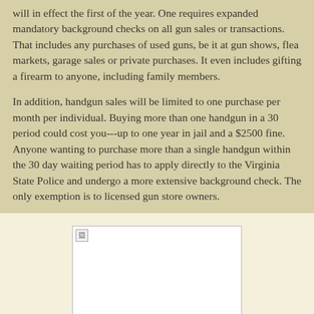will in effect the first of the year. One requires expanded mandatory background checks on all gun sales or transactions. That includes any purchases of used guns, be it at gun shows, flea markets, garage sales or private purchases. It even includes gifting a firearm to anyone, including family members.
In addition, handgun sales will be limited to one purchase per month per individual. Buying more than one handgun in a 30 period could cost you---up to one year in jail and a $2500 fine. Anyone wanting to purchase more than a single handgun within the 30 day waiting period has to apply directly to the Virginia State Police and undergo a more extensive background check. The only exemption is to licensed gun store owners.
[Figure (photo): Broken/missing image placeholder shown as a white rectangle with a small broken image icon in the top-left corner.]